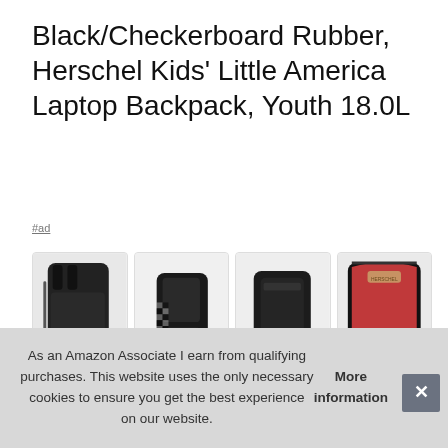Black/Checkerboard Rubber, Herschel Kids' Little America Laptop Backpack, Youth 18.0L
#ad
[Figure (photo): Four product images of a black Herschel Kids' Little America backpack shown from different angles: side view, front view, back view, and open interior view showing red lining]
Her
Backpack was made for everyone. Front pocket with key clip
As an Amazon Associate I earn from qualifying purchases. This website uses the only necessary cookies to ensure you get the best experience on our website. More information